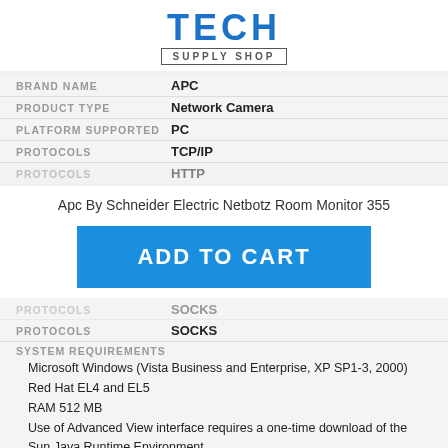[Figure (logo): Tech Supply Shop logo with blue bold TECH text and bordered 'SUPPLY SHOP' subtitle]
BRAND NAME  APC
PRODUCT TYPE  Network Camera
PLATFORM SUPPORTED  PC
PROTOCOLS  TCP/IP
PROTOCOLS  HTTP (partially visible)
Apc By Schneider Electric Netbotz Room Monitor 355
ADD TO CART
PROTOCOLS  SOCKS
SYSTEM REQUIREMENTS
Microsoft Windows (Vista Business and Enterprise, XP SP1-3, 2000)
Red Hat EL4 and EL5
RAM 512 MB
Use of Advanced View interface requires a one-time download of the Sun Java Runtime Environment